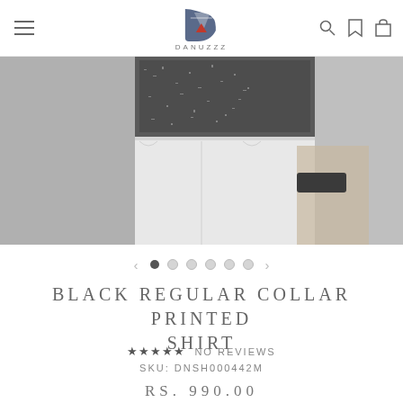[Figure (logo): DANUZZZ logo with stylized D/A letterform and red triangle accent]
[Figure (photo): Man wearing a dark printed shirt with white pants, photographed from chest to thighs against a gray background]
BLACK REGULAR COLLAR PRINTED SHIRT
★★★★★ NO REVIEWS
SKU: DNSH000442M
RS. 990.00